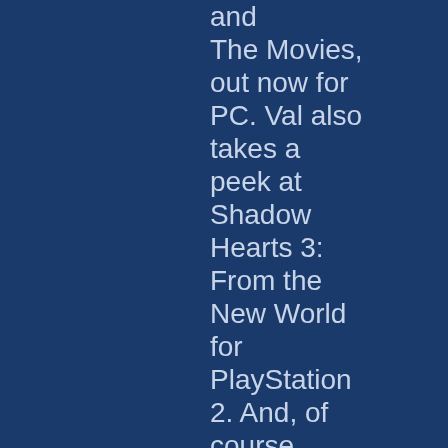...and The Movies, out now for PC. Val also takes a peek at Shadow Hearts 3: From the New World for PlayStation 2. And, of course, there's a roundup of the biggest news of the past little bit. It's eight minutes of high-quality podcasting goodness, so dig in...